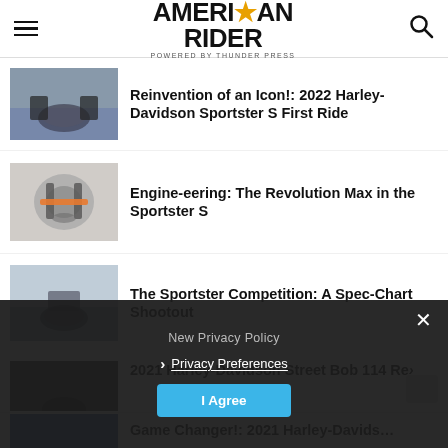AMERICAN RIDER powered by THUNDER PRESS
Reinvention of an Icon!: 2022 Harley-Davidson Sportster S First Ride
Engine-eering: The Revolution Max in the Sportster S
The Sportster Competition: A Spec-Chart Shootout
2021 Harley-Davidson Street Bob 114 Re›
New Privacy Policy
Privacy Preferences
I Agree
Game Changer!: 2021 Harley-Davids…